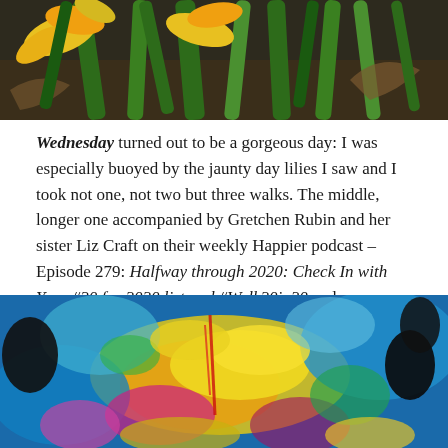[Figure (photo): Close-up photo of yellow day lilies and green foliage against dark soil background]
Wednesday turned out to be a gorgeous day: I was especially buoyed by the jaunty day lilies I saw and I took not one, not two but three walks. The middle, longer one accompanied by Gretchen Rubin and her sister Liz Craft on their weekly Happier podcast – Episode 279: Halfway through 2020: Check In with Your #20 for 2020 list and #Walk20in20 and a Spotlight on Just Mercy.
[Figure (photo): Colorful psychedelic/thermographic style photo with vivid yellow, blue, green, and magenta tones, appears to be an abstract or digitally processed nature image]